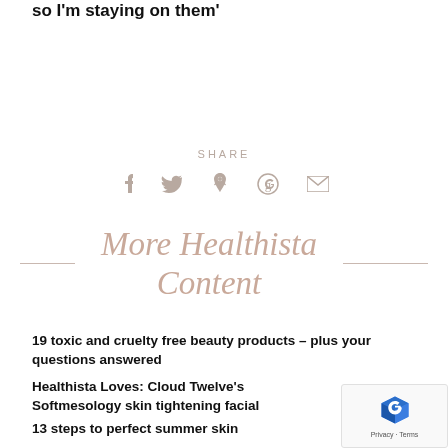so I'm staying on them'
SHARE
[Figure (infographic): Social share icons: Facebook, Twitter, Pinterest, Google+, Email]
More Healthista Content
19 toxic and cruelty free beauty products – plus your questions answered
Healthista Loves: Cloud Twelve's Softmesology skin tightening facial
13 steps to perfect summer skin
10 things you need to know about SPF – plus 5...